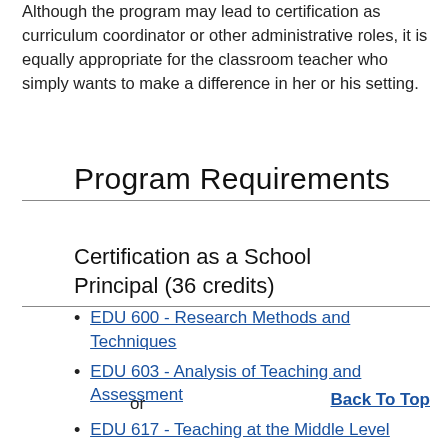Although the program may lead to certification as curriculum coordinator or other administrative roles, it is equally appropriate for the classroom teacher who simply wants to make a difference in her or his setting.
Program Requirements
Certification as a School Principal (36 credits)
EDU 600 - Research Methods and Techniques
EDU 603 - Analysis of Teaching and Assessment
or
Back To Top
EDU 617 - Teaching at the Middle Level